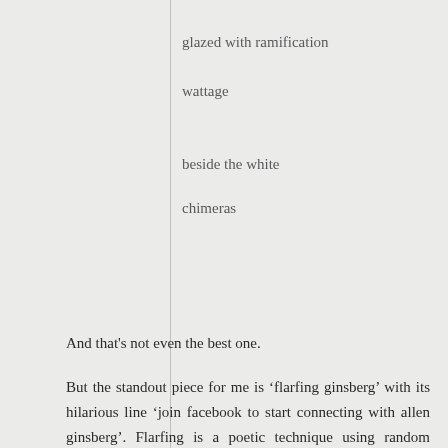glazed with ramification
wattage
beside the white
chimeras
And that's not even the best one.
But the standout piece for me is ‘flarfing ginsberg’ with its hilarious line ‘join facebook to start connecting with allen ginsberg’. Flarfing is a poetic technique using random internet search results and collaboration to produce outrageous or shocking material. Burton’s flarf isn’t vulgar or shocking, but deeply ironic, ending with the lines